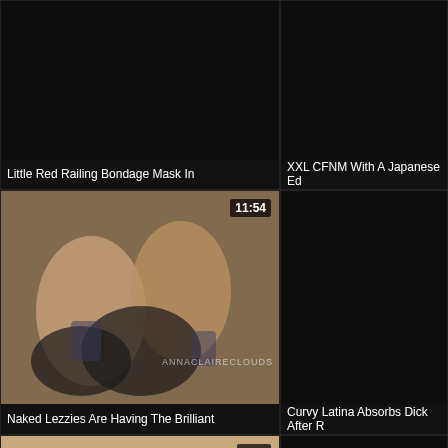[Figure (screenshot): Video thumbnail - dark/black, partially visible]
Little Red Railing Bondage Mask In
[Figure (screenshot): Video thumbnail - dark/black, partially visible]
XXL CFNM With A Japanese Ed
[Figure (screenshot): Video thumbnail showing group scene, duration 11:54, watermark ANNACLAIRECLOUDS]
Naked Lezzies Are Having The Brilliant
[Figure (screenshot): Video thumbnail - dark/black, partially visible]
Curvy Latina Absorbs Dick After R
[Figure (screenshot): Video thumbnail showing couple on bed, duration 4:56]
[Figure (screenshot): Video thumbnail - dark/black, partially visible]